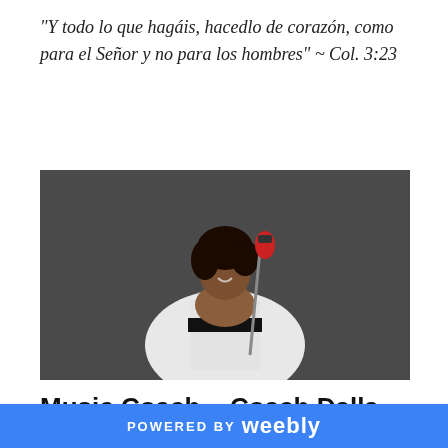"Y todo lo que hagáis, hacedlo de corazón, como para el Señor y no para los hombres" ~ Col. 3:23
[Figure (photo): Woman in a white dress with musical note print, holding a microphone stand, smiling, against a dark gray background.]
Music Coach ~ Coach Dalla
Shondalla has been playing the violin for 20 years. She was in the Albany Youth Symphony Orchestra , where
POWERED BY weebly